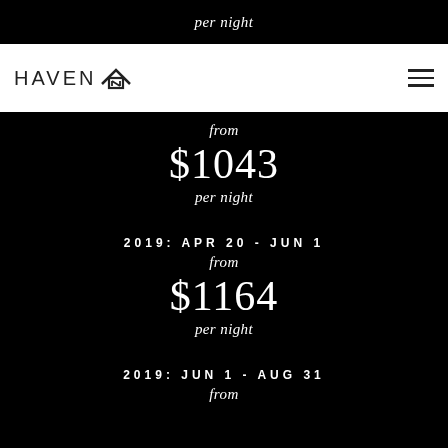per night
[Figure (logo): Haven In logo with house/arrow icon on white navigation bar with hamburger menu]
from
$1043
per night
2019: APR 20 - JUN 1
from
$1164
per night
2019: JUN 1 - AUG 31
from